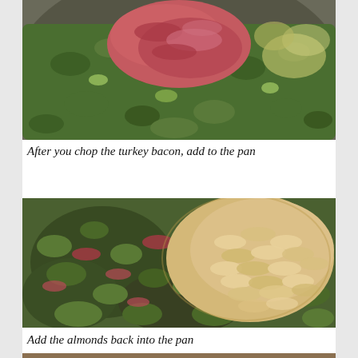[Figure (photo): Close-up photo of a pan with chopped green vegetables (brussels sprouts/asparagus) and chopped pink turkey bacon added on top]
After you chop the turkey bacon, add to the pan
[Figure (photo): Photo of a pan with sautéed green vegetables mixed with turkey bacon pieces and a pile of sliced almonds added on top right]
Add the almonds back into the pan
[Figure (photo): Partial photo of a dish with the cooked mixture, bottom of page]